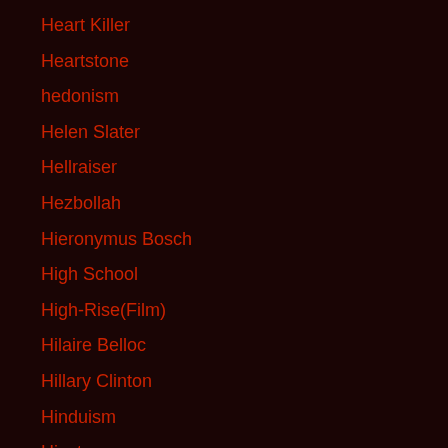Heart Killer
Heartstone
hedonism
Helen Slater
Hellraiser
Hezbollah
Hieronymus Bosch
High School
High-Rise(Film)
Hilaire Belloc
Hillary Clinton
Hinduism
Hipsters
Historic Preservation
History